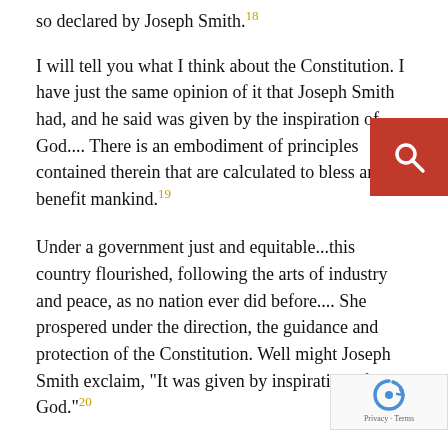so declared by Joseph Smith.18
I will tell you what I think about the Constitution. I have just the same opinion of it that Joseph Smith had, and he said was given by the inspiration of God.... There is an embodiment of principles contained therein that are calculated to bless and benefit mankind.19
Under a government just and equitable...this country flourished, following the arts of industry and peace, as no nation ever did before.... She prospered under the direction, the guidance and protection of the Constitution. Well might Joseph Smith exclaim, "It was given by inspiration of God."20
It is true that the founders of this nation, as a preliminary step for the introduction of more correct principles and liberty and the rights of man might be recognized, and that all